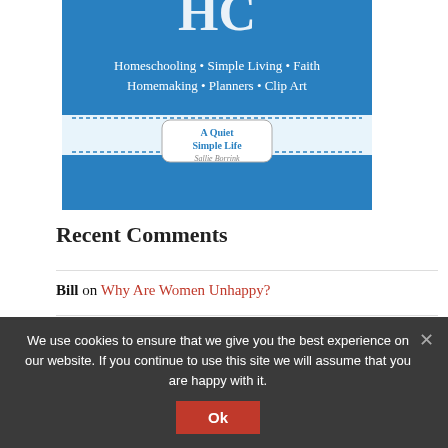[Figure (illustration): Book cover image for 'A Quiet Simple Life' by Sallie Borrink, with blue background and text: Homeschooling • Simple Living • Faith, Homemaking • Planners • Clip Art]
Recent Comments
Bill on Why Are Women Unhappy?
Ticia on Simple Living This Week No. 95
Sallie Borrink on Recommended Video: Tucker Carlson on Whitmer Kidnapping, January 6 Connections
We use cookies to ensure that we give you the best experience on our website. If you continue to use this site we will assume that you are happy with it.
Ok